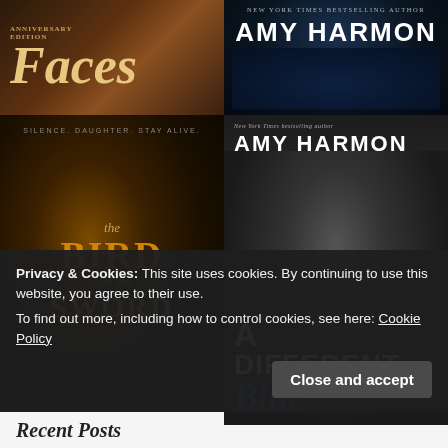[Figure (illustration): Book cover: Faces - Anniversary Edition, golden/brown warm tones with large italic title]
[Figure (illustration): Book cover: Amy Harmon - dark blue cosmic background, New York Times Bestselling Author]
[Figure (illustration): Book cover: The Bird and the Sword - dark golden glow portrait, tagline SILENCE. DAUGHTER. STAY ALIVE.]
[Figure (illustration): Book cover: A Different Blue by Amy Harmon - black and white female portrait, large white and blue title text]
Privacy & Cookies: This site uses cookies. By continuing to use this website, you agree to their use.
To find out more, including how to control cookies, see here: Cookie Policy
Close and accept
Recent Posts